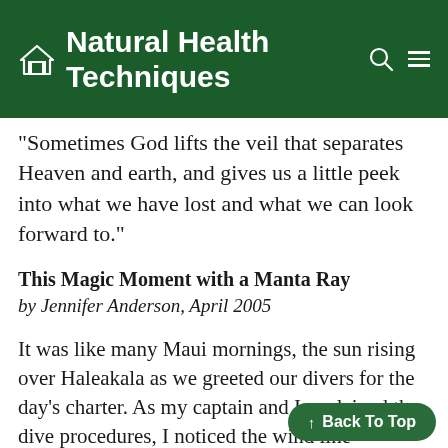Natural Health Techniques
"Sometimes God lifts the veil that separates Heaven and earth, and gives us a little peek into what we have lost and what we can look forward to."
This Magic Moment with a Manta Ray
by Jennifer Anderson, April 2005
It was like many Maui mornings, the sun rising over Haleakala as we greeted our divers for the day's charter. As my captain and I explained the dive procedures, I noticed the wind line